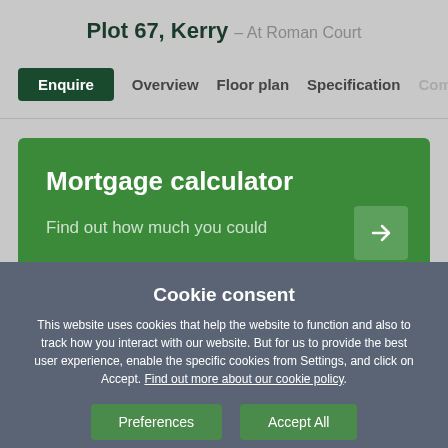Plot 67, Kerry – At Roman Court
Enquire  Overview  Floor plan  Specification  Commu...
[Figure (screenshot): Green mortgage calculator banner with title 'Mortgage calculator' and subtitle 'Find out how much you could' with arrow button]
Cookie consent
This website uses cookies that help the website to function and also to track how you interact with our website. But for us to provide the best user experience, enable the specific cookies from Settings, and click on Accept. Find out more about our cookie policy.
Preferences  Accept All